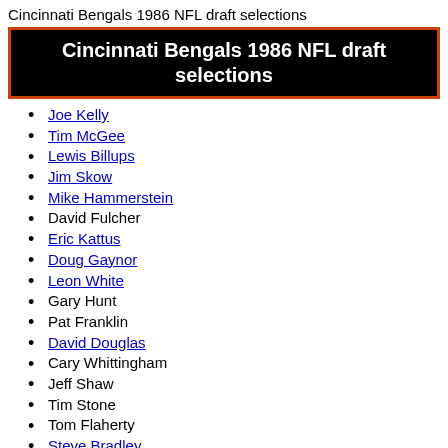Cincinnati Bengals 1986 NFL draft selections
Cincinnati Bengals 1986 NFL draft selections
Joe Kelly
Tim McGee
Lewis Billups
Jim Skow
Mike Hammerstein
David Fulcher
Eric Kattus
Doug Gaynor
Leon White
Gary Hunt
Pat Franklin
David Douglas
Cary Whittingham
Jeff Shaw
Tim Stone
Tom Flaherty
Steve Bradley
Walter Camp Alumni of the Year
Walter Camp Alumni of the Year